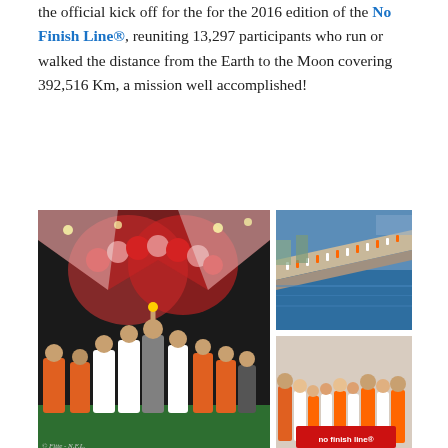the official kick off for the for the 2016 edition of the No Finish Line®, reuniting 13,297 participants who run or walked the distance from the Earth to the Moon covering 392,516 Km, a mission well accomplished!
[Figure (photo): Three photos: large left photo shows group of people including officials and participants at night event with red balloons and orange vests; top right photo shows aerial view of runners along a waterfront promenade; bottom right photo shows group of children and adults holding a 'no finish line' banner in orange and white.]
For its 18th edition the NFL proposes a new challenge: to reach the stars by completing 400,000 Km in 8 days! An expected number of 14,000 participants will start their solidarity journey on Saturday, November 11 from 14:00, until Sunday November 19 at 16:00. Since its